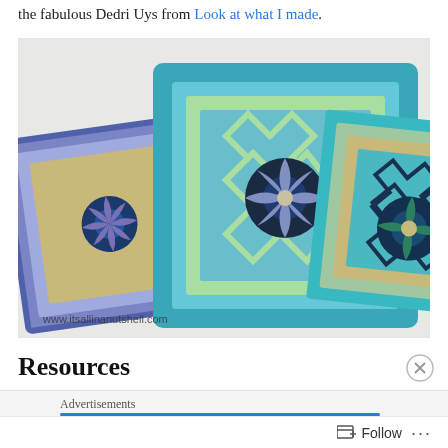the fabulous Dedri Uys from Look at what I made.
[Figure (photo): Three crocheted granny squares with floral centers in blue, teal, purple, and cream colors arranged diagonally on a white surface. Watermark: www.itsallinanutshell.com]
Resources
Advertisements
Follow ...